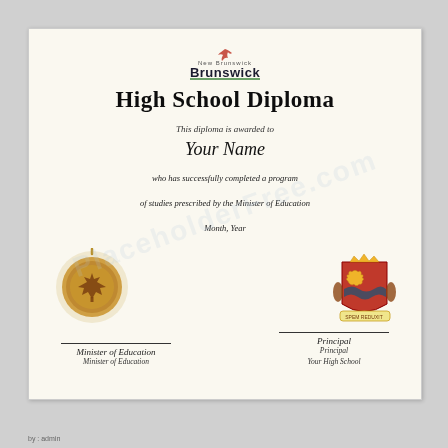[Figure (logo): New Brunswick provincial logo with bird and text 'Brunswick' in bold]
High School Diploma
This diploma is awarded to
Your Name
who has successfully completed a program of studies prescribed by the Minister of Education Month, Year
[Figure (illustration): Gold embossed seal with maple leaf in center surrounded by decorative ring]
[Figure (illustration): New Brunswick provincial coat of arms crest in color]
Minister of Education (signature)
Principal (signature), Your High School